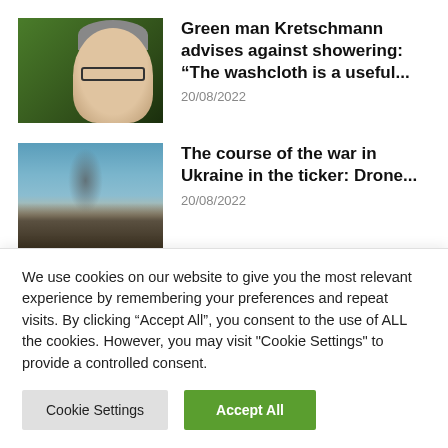[Figure (photo): Photo of an older man with grey hair and glasses against a green background]
Green man Kretschmann advises against showering: “The washcloth is a useful...
20/08/2022
[Figure (photo): Photo of a city skyline with smoke rising, blue sky in background]
The course of the war in Ukraine in the ticker: Drone...
20/08/2022
[Figure (photo): Partial thumbnail with grey and blue sections]
Political developments and voices
We use cookies on our website to give you the most relevant experience by remembering your preferences and repeat visits. By clicking “Accept All”, you consent to the use of ALL the cookies. However, you may visit "Cookie Settings" to provide a controlled consent.